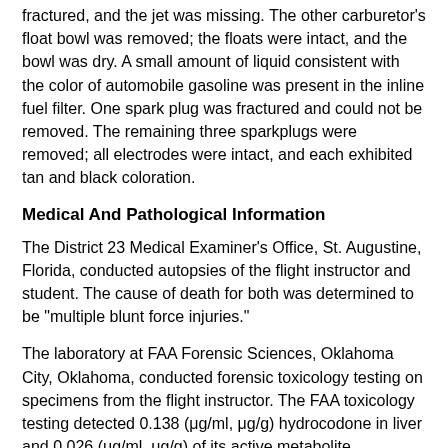fractured, and the jet was missing. The other carburetor's float bowl was removed; the floats were intact, and the bowl was dry. A small amount of liquid consistent with the color of automobile gasoline was present in the inline fuel filter. One spark plug was fractured and could not be removed. The remaining three sparkplugs were removed; all electrodes were intact, and each exhibited tan and black coloration.
Medical And Pathological Information
The District 23 Medical Examiner's Office, St. Augustine, Florida, conducted autopsies of the flight instructor and student. The cause of death for both was determined to be "multiple blunt force injuries."
The laboratory at FAA Forensic Sciences, Oklahoma City, Oklahoma, conducted forensic toxicology testing on specimens from the flight instructor. The FAA toxicology testing detected 0.138 (μg/ml, μg/g) hydrocodone in liver and 0.026 (μg/ml, μg/g) of its active metabolite dihydrocodeine in liver, 0.034 (μg/ml, μg/g) hydrocodone in muscle, and metoprolol in liver and muscle. NMS Labs, Willow Grove,